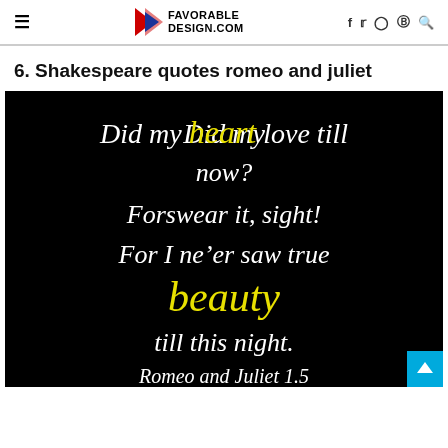FAVORABLE DESIGN.COM — navigation and social icons
6. Shakespeare quotes romeo and juliet
[Figure (illustration): Black background image with cursive text quote: 'Did my heart love till now? Forswear it, sight! For I ne'er saw true beauty till this night.' with 'heart' and 'beauty' highlighted in yellow. Attribution: Romeo and Juliet 1.5]